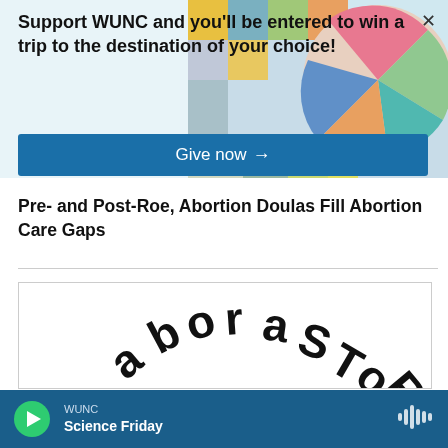Support WUNC and you'll be entered to win a trip to the destination of your choice!
Give now →
Pre- and Post-Roe, Abortion Doulas Fill Abortion Care Gaps
[Figure (illustration): Circular logo or text arranged in arc shape spelling 'aboraSTOR' or similar, shown partially]
WUNC | Science Friday